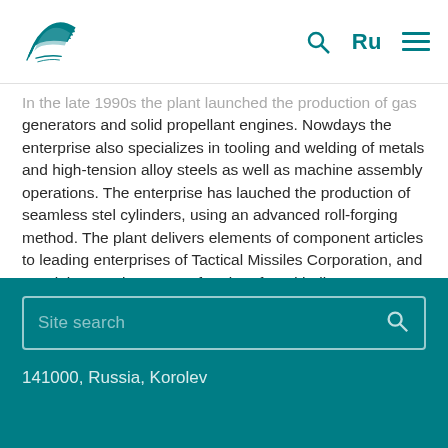Logo | Ru | Search | Menu
In the late 1990s the plant launched the production of gas generators and solid propellant engines. Nowdays the enterprise also specializes in tooling and welding of metals and high-tension alloy steels as well as machine assembly operations. The enterprise has lauched the production of seamless stel cylinders, using an advanced roll-forging method. The plant delivers elements of component articles to leading enterprises of Tactical Missiles Corporation, and special protection means for aircraft and helicopters.
Site search | 141000, Russia, Korolev